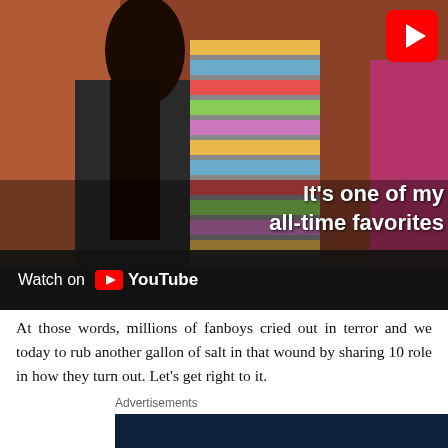[Figure (screenshot): YouTube video embed showing people sitting on a couch, with text overlay 'It's one of my all-time favorites' and a YouTube play button in top right. Black bar at bottom reads 'Watch on YouTube'.]
At those words, millions of fanboys cried out in terror and we today to rub another gallon of salt in that wound by sharing 10 role in how they turn out. Let's get right to it.
Advertisements
[Figure (screenshot): Dark navy blue advertisement box with white serif text 'Opinions' visible at bottom.]